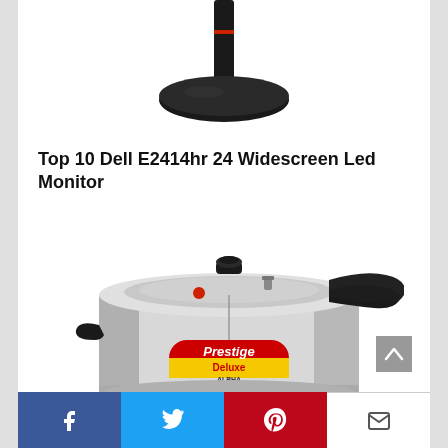[Figure (photo): Partial view of a Dell monitor stand/base, black circular base visible at top of page]
Top 10 Dell E2414hr 24 Widescreen Led Monitor
[Figure (photo): Prestige Deluxe Alpha stainless steel pressure cooker with black handles and lid knob, brand label visible on front]
Social sharing bar with Facebook, Twitter, Pinterest, and Email buttons